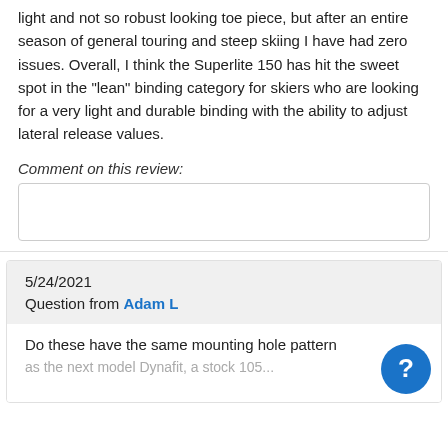light and not so robust looking toe piece, but after an entire season of general touring and steep skiing I have had zero issues. Overall, I think the Superlite 150 has hit the sweet spot in the "lean" binding category for skiers who are looking for a very light and durable binding with the ability to adjust lateral release values.
Comment on this review:
5/24/2021
Question from Adam L
Do these have the same mounting hole patte... as the next model Dynafit, a stock 105...